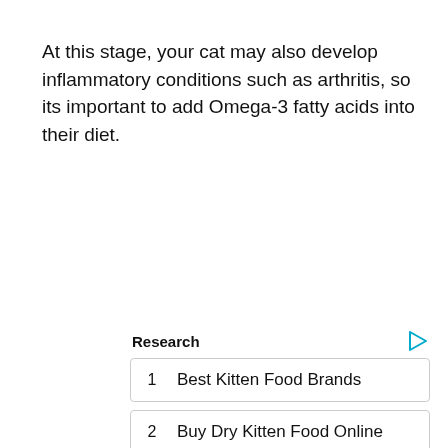At this stage, your cat may also develop inflammatory conditions such as arthritis, so its important to add Omega-3 fatty acids into their diet.
Research
1   Best Kitten Food Brands
2   Buy Dry Kitten Food Online
Yahoo! Search | Sponsored